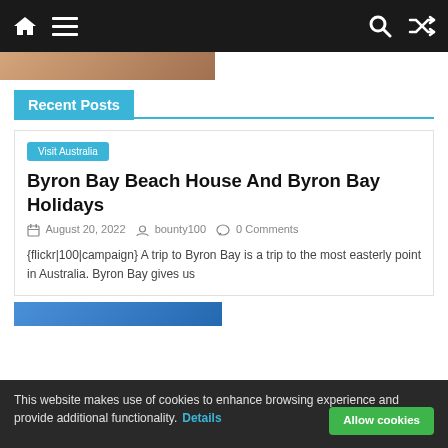Navigation bar with home, menu, search, and shuffle icons
Recent Posts
Visit Australia
Byron Bay Beach House And Byron Bay Holidays
August 20, 2022   bounty100   0 Comments
{flickr|100|campaign} A trip to Byron Bay is a trip to the most easterly point in Australia. Byron Bay gives us
This website makes use of cookies to enhance browsing experience and provide additional functionality. Details  Allow cookies